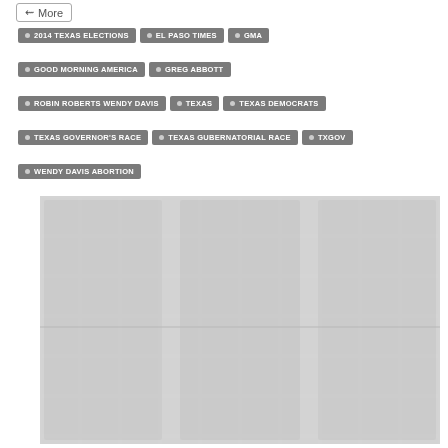More
2014 TEXAS ELECTIONS
EL PASO TIMES
GMA
GOOD MORNING AMERICA
GREG ABBOTT
ROBIN ROBERTS WENDY DAVIS
TEXAS
TEXAS DEMOCRATS
TEXAS GOVERNOR'S RACE
TEXAS GUBERNATORIAL RACE
TXGOV
WENDY DAVIS ABORTION
[Figure (photo): Blurred/redacted image content below the tags section]